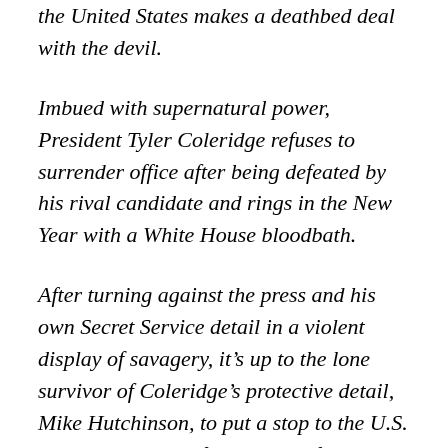the United States makes a deathbed deal with the devil.
Imbued with supernatural power, President Tyler Coleridge refuses to surrender office after being defeated by his rival candidate and rings in the New Year with a White House bloodbath.
After turning against the press and his own Secret Service detail in a violent display of savagery, it’s up to the lone survivor of Coleridge’s protective detail, Mike Hutchinson, to put a stop to the U.S. president’s reign of madness before the nation is utterly crippled.
Inspired by recent events, Friday Night Massacre is a splatterpunk horror action novel in the grindhouse